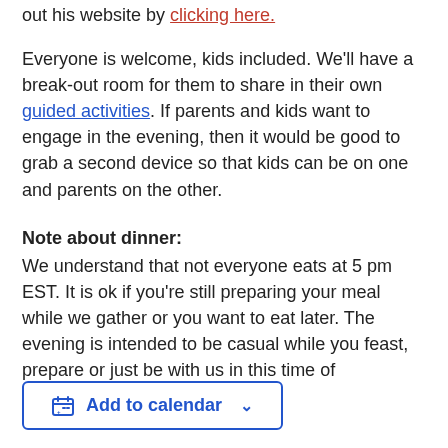out his website by clicking here.
Everyone is welcome, kids included. We'll have a break-out room for them to share in their own guided activities. If parents and kids want to engage in the evening, then it would be good to grab a second device so that kids can be on one and parents on the other.
Note about dinner:
We understand that not everyone eats at 5 pm EST. It is ok if you're still preparing your meal while we gather or you want to eat later. The evening is intended to be casual while you feast, prepare or just be with us in this time of community and connection.
[Figure (other): Add to calendar button with calendar icon and dropdown chevron]